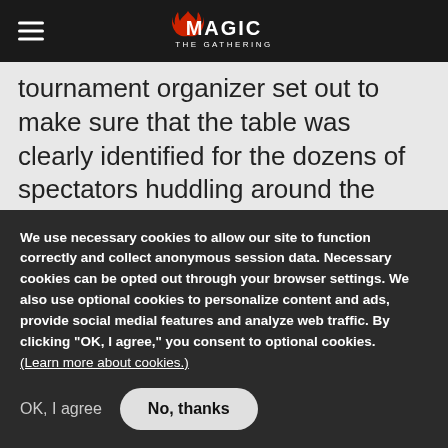MAGIC THE GATHERING
tournament organizer set out to make sure that the table was clearly identified for the dozens of spectators huddling around the Feature Match area all day long, creating an awesome sign to designate the table. From there, it was just up to us to choose who the first King of the Hill would be.
Despite his recent win in Beijing, and his higher
We use necessary cookies to allow our site to function correctly and collect anonymous session data. Necessary cookies can be opted out through your browser settings. We also use optional cookies to personalize content and ads, provide social medial features and analyze web traffic. By clicking “OK, I agree,” you consent to optional cookies. (Learn more about cookies.)
OK, I agree
No, thanks